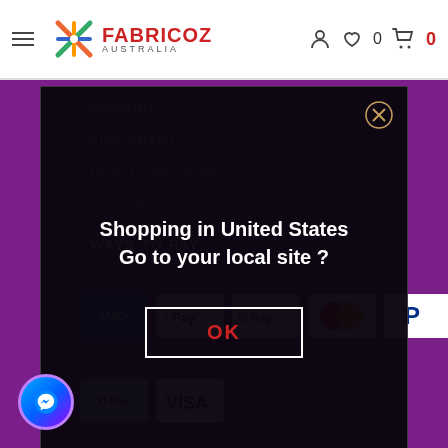[Figure (screenshot): Fabricoz Australia website header/navbar with hamburger menu, colorful logo, and icons for account, wishlist (heart with 0), and cart (red 0)]
SHIPPING
SIZE CHART
[Figure (screenshot): Modal dialog overlay on dark semi-transparent background with close X button, text 'Shopping in United States Go to your local site ?' and an OK button with red text in white border]
HOW TO MEASURE
POLICIES
ABOUT US
CONTACT US
WAYS TO PAY
[Figure (other): Payment method icons: AMEX (blue), Apple Pay, Google Pay, Mastercard, PayPal, AfterPay (white with O), VISA]